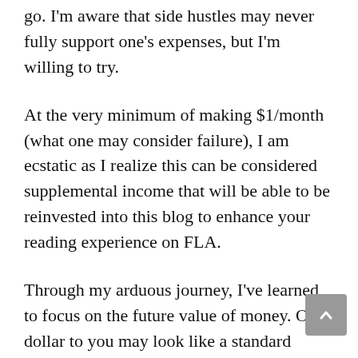go. I'm aware that side hustles may never fully support one's expenses, but I'm willing to try.
At the very minimum of making $1/month (what one may consider failure), I am ecstatic as I realize this can be considered supplemental income that will be able to be reinvested into this blog to enhance your reading experience on FLA.
Through my arduous journey, I've learned to focus on the future value of money. One dollar to you may look like a standard George Washington-faced bill, but to me, I see its potential. Accounting for 3% inflation